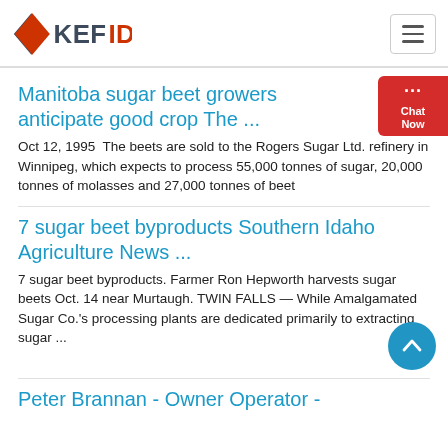KEFID (logo)
Manitoba sugar beet growers anticipate good crop The ...
Oct 12, 1995  The beets are sold to the Rogers Sugar Ltd. refinery in Winnipeg, which expects to process 55,000 tonnes of sugar, 20,000 tonnes of molasses and 27,000 tonnes of beet
7 sugar beet byproducts Southern Idaho Agriculture News ...
7 sugar beet byproducts. Farmer Ron Hepworth harvests sugar beets Oct. 14 near Murtaugh. TWIN FALLS — While Amalgamated Sugar Co.'s processing plants are dedicated primarily to extracting sugar ...
Peter Brannan - Owner Operator -